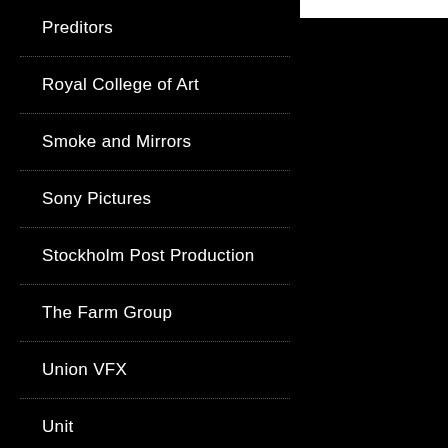Preditors
Royal College of Art
Smoke and Mirrors
Sony Pictures
Stockholm Post Production
The Farm Group
Union VFX
Unit
University of York
Wave Studios
All Projects